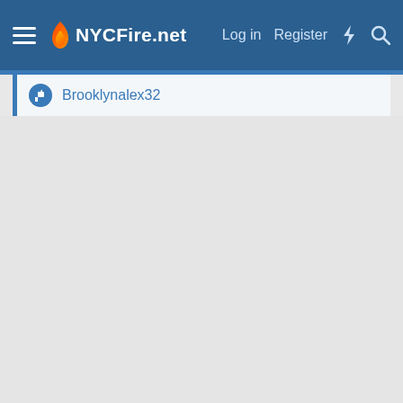NYCFire.net navigation bar with Log in, Register, and icon links
Brooklynalex32